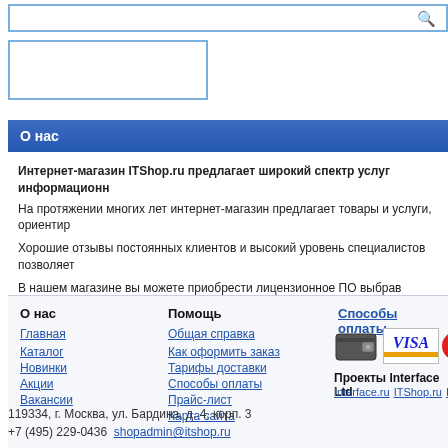[Figure (screenshot): Search bar with magnifying glass icon]
[Figure (screenshot): Logo/banner box (empty white box with blue border)]
О нас
Интернет-магазин ITShop.ru предлагает широкий спектр услуг информационн...
На протяжении многих лет интернет-магазин предлагает товары и услуги, ориентир...
Хорошие отзывы постоянных клиентов и высокий уровень специалистов позволяет...
В нашем магазине вы можете приобрести лицензионное ПО выбрав необходимое и... определиться с выбором ПО, которое необходимо именно вам. Также мы проводим... бизнес-тренингов, преподавателей. Сфера сотрудничества - продвижение бизнес-т...
О нас
Главная
Каталог
Новинки
Акции
Вакансии
Помощь
Общая справка
Как оформить заказ
Тарифы доставки
Способы оплаты
Прайс-лист
Карта сайта
Способы оплаты
[Figure (logo): Payment icons: wallet, VISA, MasterCard]
Проекты Interface Ltd
Interface.ru   ITShop.ru   Interfa...
119334, г. Москва, ул. Бардина, д. 4, корп. 3
+7 (495) 229-0436   shopadmin@itshop.ru